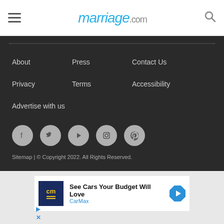marriage.com
About
Press
Contact Us
Privacy
Terms
Accessibility
Advertise with us
[Figure (infographic): Social media icons: Facebook, Twitter, YouTube/Play, Instagram, Pinterest — each in a light gray circle]
Sitemap | © Copyright 2022. All Rights Reserved.
[Figure (infographic): CarMax advertisement banner: 'See Cars Your Budget Will Love' with CarMax logo and blue diamond arrow icon]